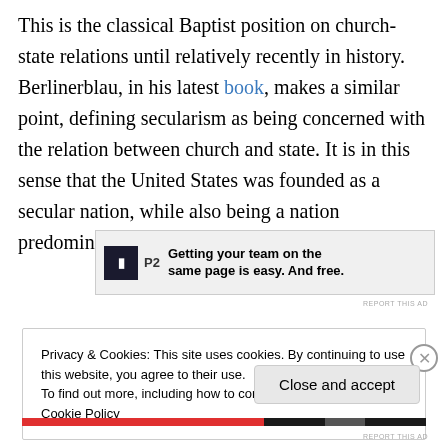This is the classical Baptist position on church-state relations until relatively recently in history. Berlinerblau, in his latest book, makes a similar point, defining secularism as being concerned with the relation between church and state. It is in this sense that the United States was founded as a secular nation, while also being a nation predominately of Protestants.
[Figure (screenshot): Advertisement banner for P2 - 'Getting your team on the same page is easy. And free.']
Privacy & Cookies: This site uses cookies. By continuing to use this website, you agree to their use.
To find out more, including how to control cookies, see here: Cookie Policy
Close and accept